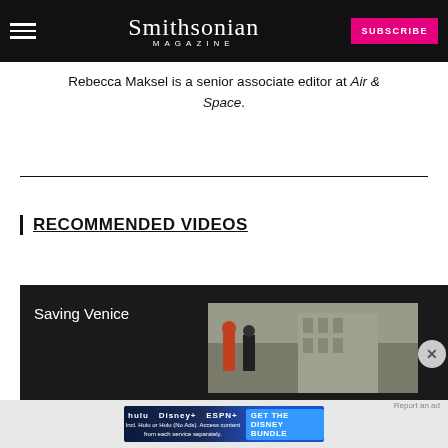Smithsonian MAGAZINE
Rebecca Maksel is a senior associate editor at Air & Space.
RECOMMENDED VIDEOS
[Figure (screenshot): Video thumbnail showing 'Saving Venice' with people standing in front of a historic building]
[Figure (screenshot): Disney Bundle advertisement banner showing Hulu, Disney+, ESPN+ logos with 'GET THE DISNEY BUNDLE' call to action]